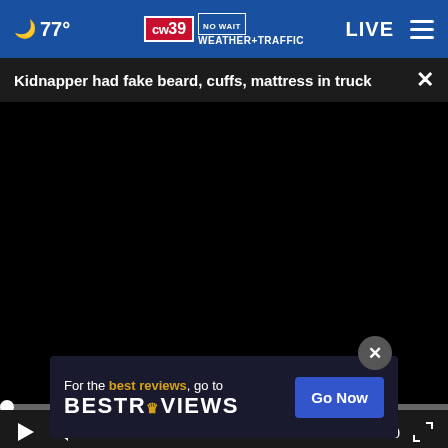77° CW39 NO WAIT WEATHER+TRAFFIC LIVE
Kidnapper had fake beard, cuffs, mattress in truck
[Figure (screenshot): Embedded video player showing a black screen with playback controls. Progress bar at bottom left showing 00:00 timestamp. Controls include play button, mute button, timestamp 00:00, and fullscreen expand button.]
[Figure (photo): Close-up photo of an elderly person's face, partially visible at bottom of page.]
[Figure (other): Advertisement overlay: 'For the best reviews, go to BESTREVIEWS' with a 'Go Now' blue button. Crown icon in golden color on the BESTREVIEWS logo.]